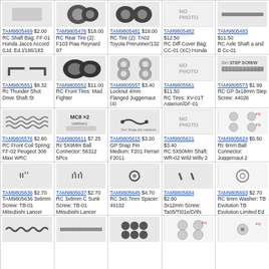TAM9805469 $2.00 RC Shaft Bag: FF-01 Honda Jaccs Accord (Ltd. Ed.)/186/183
TAM9805476 $18.00 RC Rear Tire (2): F103 Piaa Reynard 97
TAM9805481 $18.00 RC Tire (2): TA02 Toyota Prerunner/132
TAM9805482 $12.50 RC Diff Cover Bag: CC-01 (XC) Honda CR-V Sport Utility/166
TAM9805483 $11.50 RC Axle Shaft a and B Cc-01
TAM9805551 $8.32 Rc Thunder Shot Drive Shaft St
TAM9805552 $11.00 RC Front Tires: Mad Fighter
TAM9805557 $3.40 Locknut 4mm Flanged Juggernaut (4)
TAM9805561 $11.50 RC Tires: XV-01T Asterion/DF-01 Blazing Star
TAM9805573 $1.99 RC GP 3x18mm Step Screw: 44026
TAM9805576 $2.80 RC Front Coil Spring: FF-02 Peugeot 306 Maxi WRC
TAM9805611 $7.25 Rc 5X9Mm Ball Connector: 56312 5Pcs
TAM9805615 $3.20 GP Snap Pin Medium: F201 Ferrari F2011
TAM9805621 $3.40 RC 5X50Mm Shaft: WR-02 Wild Willy 2
TAM9805624 $5.50 Rc 6mm Ball Connector: Juggernaut 2
TAM9805636 $2.70 TAM9805636 3x6mm Screw: TB-01 Mitsubishi Lancer Evolution VI WRC
TAM9805637 $2.70 RC 3x8mm C Sunk Screw: TB-01 Mitsubishi Lancer Evolution VI WRC
TAM9805645 $4.70 RC 3x0.7mm Spacer: 49132
TAM9805684 $2.80 3x12mm Screw: Ta05/Tt01e/D/Ifs
TAM9805693 $2.70 RC 6mm Washer: TB Evolution TB Evolution Limited Ed